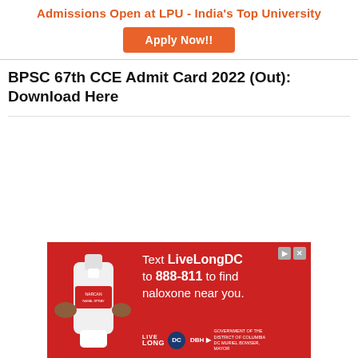Admissions Open at LPU - India's Top University
[Figure (other): Apply Now!! orange button for LPU admissions]
BPSC 67th CCE Admit Card 2022 (Out): Download Here
[Figure (infographic): Advertisement banner: Text LiveLongDC to 888-811 to find naloxone near you. Red background with nasal spray image and DC government logos.]